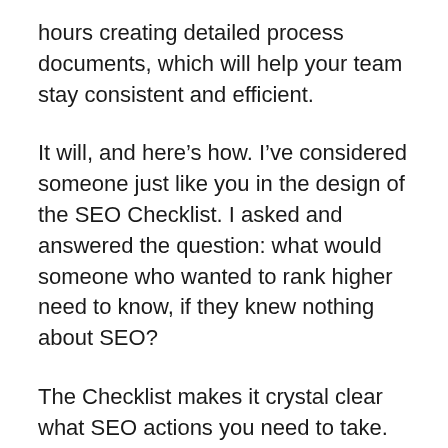hours creating detailed process documents, which will help your team stay consistent and efficient.
It will, and here’s how. I’ve considered someone just like you in the design of the SEO Checklist. I asked and answered the question: what would someone who wanted to rank higher need to know, if they knew nothing about SEO?
The Checklist makes it crystal clear what SEO actions you need to take. And with the SOP collection, you also get help with how to take those actions. These step by step instructions (packed with screenshots) are designed just for you.